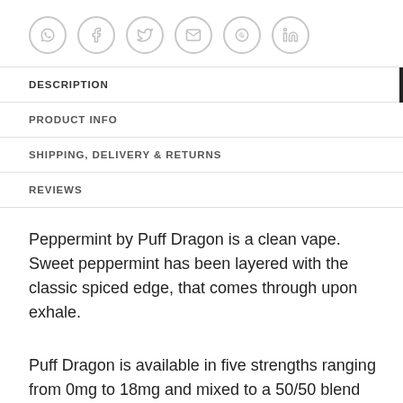[Figure (other): Row of six social sharing icons in circles: WhatsApp, Facebook, Twitter, Email, Pinterest, LinkedIn]
DESCRIPTION
PRODUCT INFO
SHIPPING, DELIVERY & RETURNS
REVIEWS
Peppermint by Puff Dragon is a clean vape. Sweet peppermint has been layered with the classic spiced edge, that comes through upon exhale.
Puff Dragon is available in five strengths ranging from 0mg to 18mg and mixed to a 50/50 blend perfect for